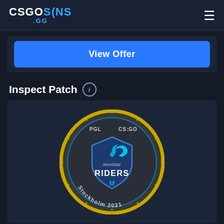CSGOSKINS .GG
View Offer
Inspect Patch
[Figure (photo): Movistar Riders patch from PGL CS:GO Stockholm 2021 — circular embroidered patch with gold border, dark background, blue shield with a cyan bird/rider logo, text 'movistar RIDERS' and 'Stockholm 2021' around the edge]